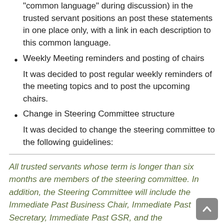“common language” during discussion) in the trusted servant positions an post these statements in one place only, with a link in each description to this common language.
Weekly Meeting reminders and posting of chairs
It was decided to post regular weekly reminders of the meeting topics and to post the upcoming chairs.
Change in Steering Committee structure
It was decided to change the steering committee to the following guidelines:
All trusted servants whose term is longer than six months are members of the steering committee. In addition, the Steering Committee will include the Immediate Past Business Chair, Immediate Past Secretary, Immediate Past GSR, and the